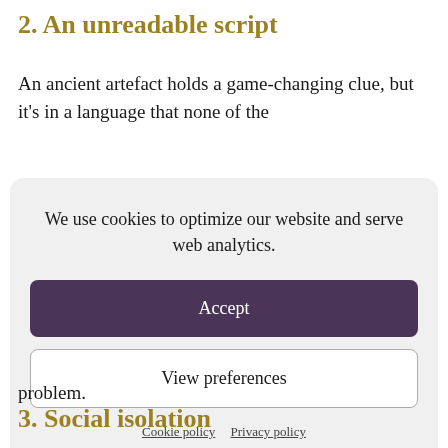2. An unreadable script
An ancient artefact holds a game-changing clue, but it’s in a language that none of the
[Figure (screenshot): Cookie consent dialog overlay with dark purple Accept button, outlined View preferences button, and Cookie policy / Privacy policy links, on a light grey rounded rectangle background]
problem.
3. Social isolation